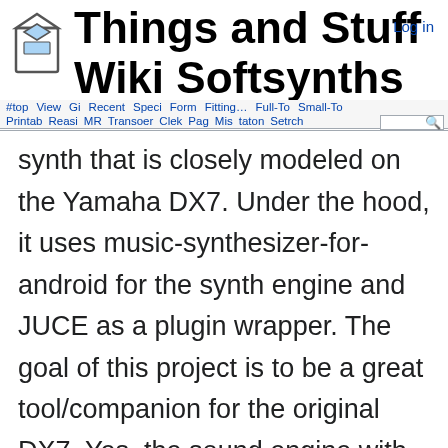Things and Stuff Wiki Softsynths
synth that is closely modeled on the Yamaha DX7. Under the hood, it uses music-synthesizer-for-android for the synth engine and JUCE as a plugin wrapper. The goal of this project is to be a great tool/companion for the original DX7. Yes, the sound engine with 'float' values parameter; different waveform (a la TX81z) would be great but anything that goes beyond the DX7 should will be a fork of this project. This is to keep the compatiblity with the original synth.